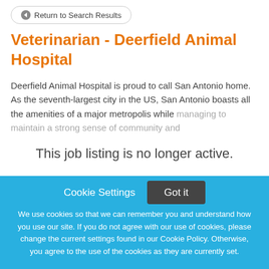Return to Search Results
Veterinarian - Deerfield Animal Hospital
Deerfield Animal Hospital is proud to call San Antonio home. As the seventh-largest city in the US, San Antonio boasts all the amenities of a major metropolis while managing to maintain a strong sense of community and
This job listing is no longer active.
Cookie Settings
Got it
We use cookies so that we can remember you and understand how you use our site. If you do not agree with our use of cookies, please change the current settings found in our Cookie Policy. Otherwise, you agree to the use of the cookies as they are currently set.